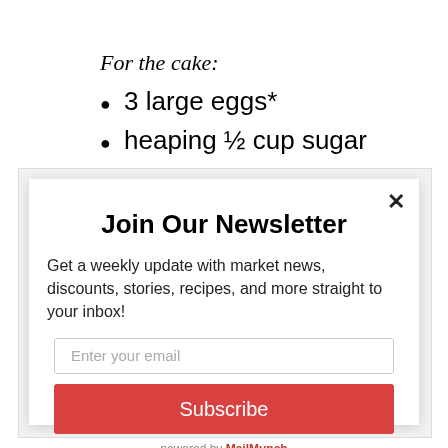For the cake:
3 large eggs*
heaping ½ cup sugar
6 Tablespoons melted unsalted butter
1 cup small curd cottage cheese (or part-
Join Our Newsletter
Get a weekly update with market news, discounts, stories, recipes, and more straight to your inbox!
Enter your email
Subscribe
powered by MailMunch